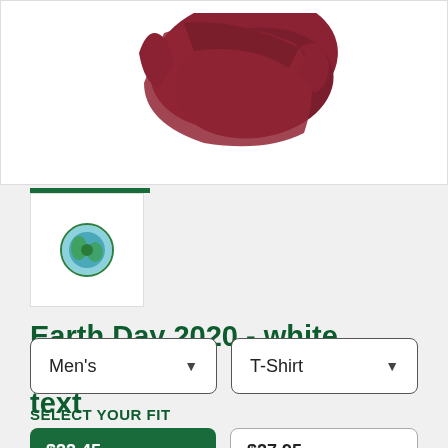[Figure (photo): Product photo of a dark red/maroon folded t-shirt on white background]
[Figure (photo): Small thumbnail of an Earth Day logo icon in blue/green tones]
Earth Day 2020 - white text   $22.45
Men's   T-Shirt (dropdown selectors)
SELECT YOUR FIT
$22.45 Regular
$27.95 Extra Soft